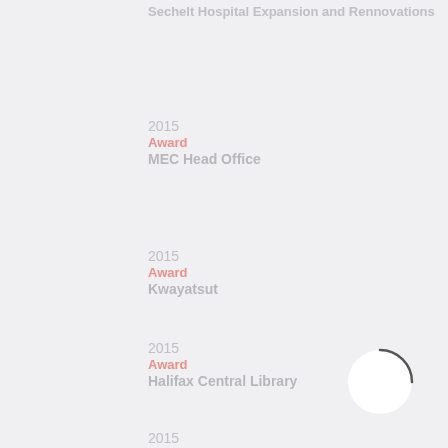Sechelt Hospital Expansion and Rennovations
2015
Award
MEC Head Office
2015
Award
Kwayatsut
2015
Award
Halifax Central Library
2015
Award
George Brown College Waterfront